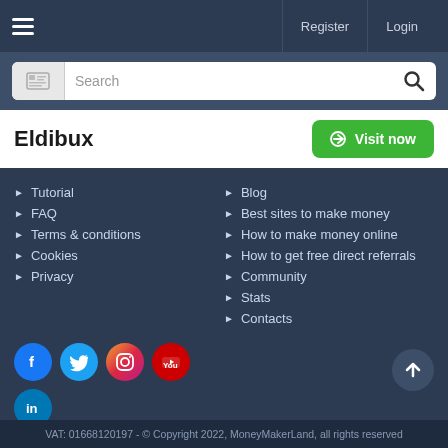Register  Login
Search
Eldibux
Visit now
Tutorial
FAQ
Terms & conditions
Cookies
Privacy
Blog
Best sites to make money
How to make money online
How to get free direct referrals
Community
Stats
Contacts
[Figure (infographic): Social media icons: Facebook, Twitter, Instagram, YouTube, LinkedIn]
VAT: 01668120197 - © Copyright 2022, MoneyMakerLand, all rights reserved